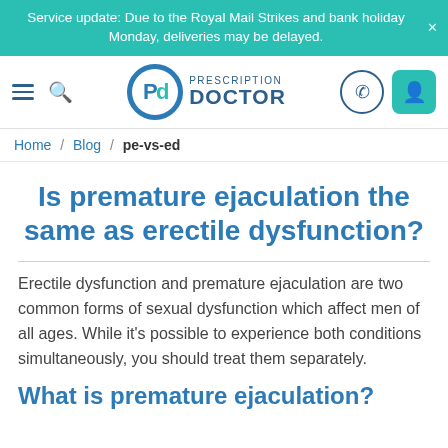Service update: Due to the Royal Mail Strikes and bank holiday Monday, deliveries may be delayed.
[Figure (logo): Prescription Doctor logo with circular PD icon and text PRESCRIPTION DOCTOR in blue]
Home / Blog / pe-vs-ed
Is premature ejaculation the same as erectile dysfunction?
Erectile dysfunction and premature ejaculation are two common forms of sexual dysfunction which affect men of all ages. While it's possible to experience both conditions simultaneously, you should treat them separately.
What is premature ejaculation?